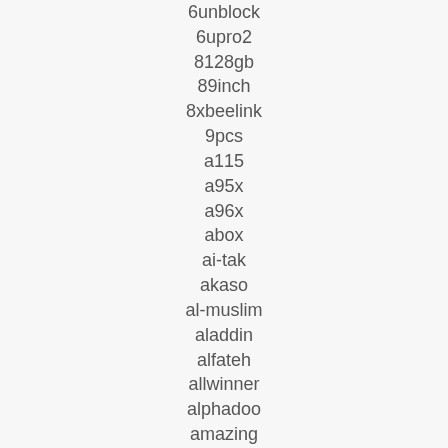6unblock
6upro2
8128gb
89inch
8xbeelink
9pcs
a115
a95x
a96x
abox
ai-tak
akaso
al-muslim
aladdin
alfateh
allwinner
alphadoo
amazing
amazon
amlogic
analogue